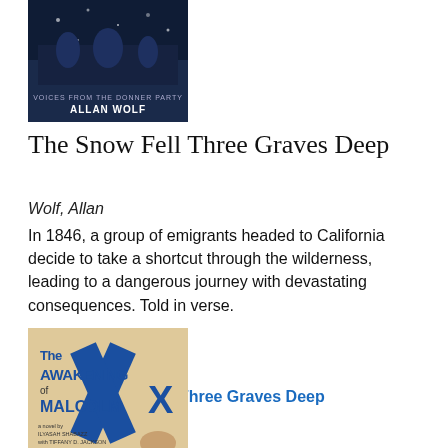[Figure (photo): Book cover of 'The Snow Fell Three Graves Deep' by Allan Wolf – dark blue cover with 'Voices from the Donner Party' subtitle]
The Snow Fell Three Graves Deep
Wolf, Allan
In 1846, a group of emigrants headed to California decide to take a shortcut through the wilderness, leading to a dangerous journey with devastating consequences. Told in verse.
Format: Book
Availability: Available
View The Snow Fell Three Graves Deep
[Figure (photo): Book cover of 'The Awakening of Malcolm X' – illustrated cover with bold text and a cross, by Ilyasah Shabazz with Tiffany D. Jackson]